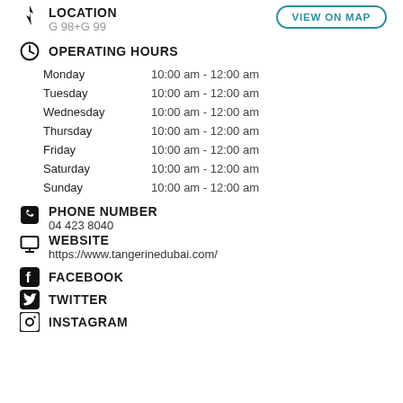LOCATION
G 98+G 99
VIEW ON MAP
OPERATING HOURS
| Day | Hours |
| --- | --- |
| Monday | 10:00 am - 12:00 am |
| Tuesday | 10:00 am - 12:00 am |
| Wednesday | 10:00 am - 12:00 am |
| Thursday | 10:00 am - 12:00 am |
| Friday | 10:00 am - 12:00 am |
| Saturday | 10:00 am - 12:00 am |
| Sunday | 10:00 am - 12:00 am |
PHONE NUMBER
04 423 8040
WEBSITE
https://www.tangerinedubai.com/
FACEBOOK
TWITTER
INSTAGRAM